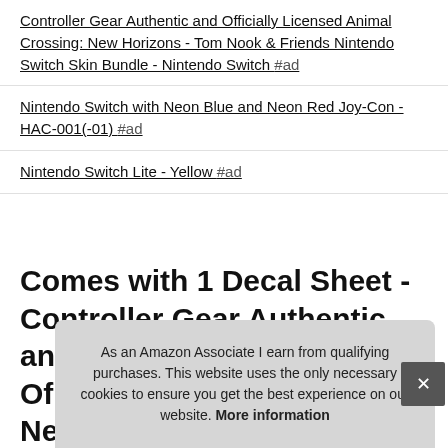Controller Gear Authentic and Officially Licensed Animal Crossing: New Horizons - Tom Nook & Friends Nintendo Switch Skin Bundle - Nintendo Switch #ad
Nintendo Switch with Neon Blue and Neon Red Joy-Con - HAC-001(-01) #ad
Nintendo Switch Lite - Yellow #ad
Comes with 1 Decal Sheet - Controller Gear Authentic and Of... Ne... De...
As an Amazon Associate I earn from qualifying purchases. This website uses the only necessary cookies to ensure you get the best experience on our website. More information